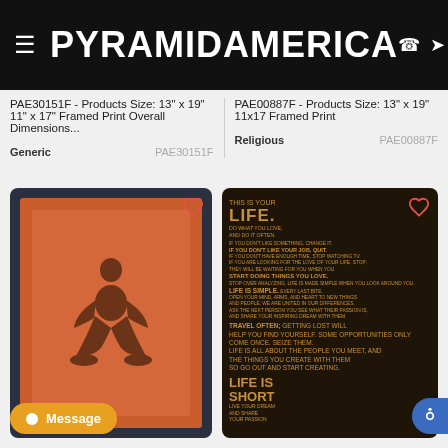PYRAMIDAMERICA
PAE30151F - Products Size: 13" x 19" 11" x 17" Framed Print Overall Dimensions...
Generic    PAE30151F
PAE00887F - Products Size: 13" x 19" 11x17 Framed Print
Religious    PAE00887F
[Figure (illustration): Yoga meditation silhouette poster - dark navy frame with orange/terracotta background and brown silhouette of person in lotus pose]
[Figure (illustration): Inspirational 'This Is Your LIFE' text poster on dark brown background with orange/gold typography]